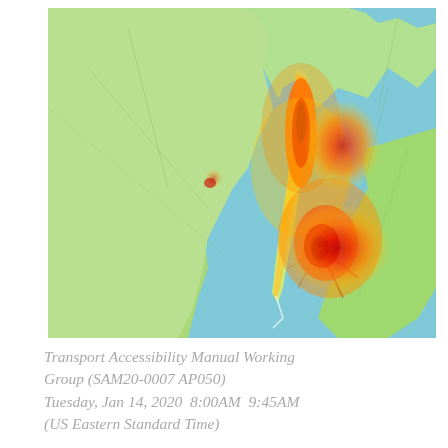[Figure (map): Heat map of the New York City metropolitan area showing transport accessibility. Color gradient from blue (water/low access) through green, yellow, orange to red (highest accessibility/density), centered on Manhattan island. Red concentrations appear on Manhattan and surrounding Brooklyn/Queens areas.]
Transport Accessibility Manual Working Group (SAM20-0007 AP050) Tuesday, Jan 14, 2020  8:00AM  9:45AM (US Eastern Standard Time)